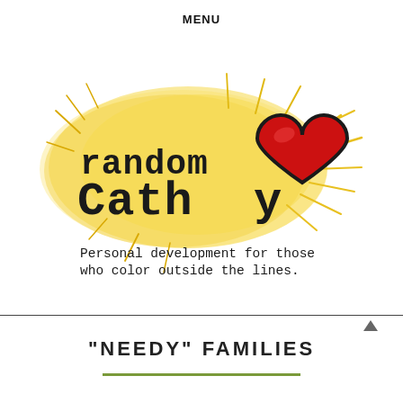MENU
[Figure (logo): Random Cathy logo: handwritten-style text 'random Cathy' with the letter y replaced by a red heart shape, on a yellow watercolor splash background with radiating lines. Below reads: 'Personal development for those who color outside the lines.']
"NEEDY" FAMILIES